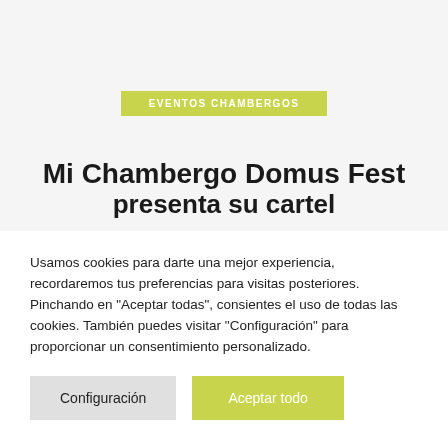EVENTOS CHAMBERGOS
Mi Chambergo Domus Fest presenta su cartel
Usamos cookies para darte una mejor experiencia, recordaremos tus preferencias para visitas posteriores. Pinchando en "Aceptar todas", consientes el uso de todas las cookies. También puedes visitar "Configuración" para proporcionar un consentimiento personalizado.
Configuración
Aceptar todo